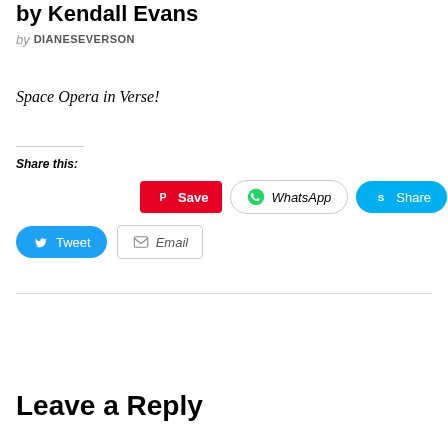by Kendall Evans
by DIANESEVERSON
Space Opera in Verse!
Share this:
[Figure (screenshot): Social share buttons: Save (Pinterest), WhatsApp, Share (Skype), Tweet (Twitter), Email]
Leave a Reply